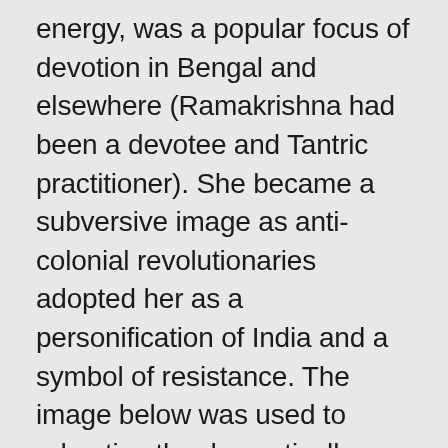energy, was a popular focus of devotion in Bengal and elsewhere (Ramakrishna had been a devotee and Tantric practitioner). She became a subversive image as anti-colonial revolutionaries adopted her as a personification of India and a symbol of resistance. The image below was used to advertise the domestically-produced 'Kali Cigarettes', as part of the movement to boycott British products. The garland of heads around the goddess's neck looked suspiciously British, and It was later banned because of this.